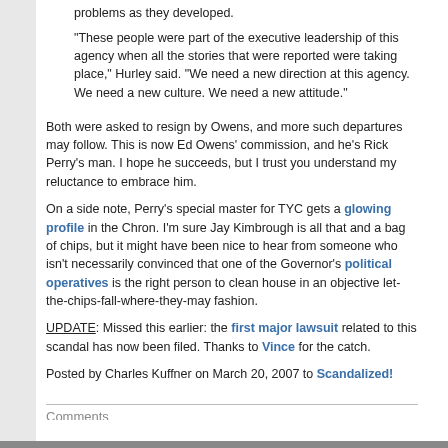problems as they developed.
"These people were part of the executive leadership of this agency when all the stories that were reported were taking place," Hurley said. "We need a new direction at this agency. We need a new culture. We need a new attitude."
Both were asked to resign by Owens, and more such departures may follow. This is now Ed Owens' commission, and he's Rick Perry's man. I hope he succeeds, but I trust you understand my reluctance to embrace him.
On a side note, Perry's special master for TYC gets a glowing profile in the Chron. I'm sure Jay Kimbrough is all that and a bag of chips, but it might have been nice to hear from someone who isn't necessarily convinced that one of the Governor's political operatives is the right person to clean house in an objective let-the-chips-fall-where-they-may fashion.
UPDATE: Missed this earlier: the first major lawsuit related to this scandal has now been filed. Thanks to Vince for the catch.
Posted by Charles Kuffner on March 20, 2007 to Scandalized!
Comments